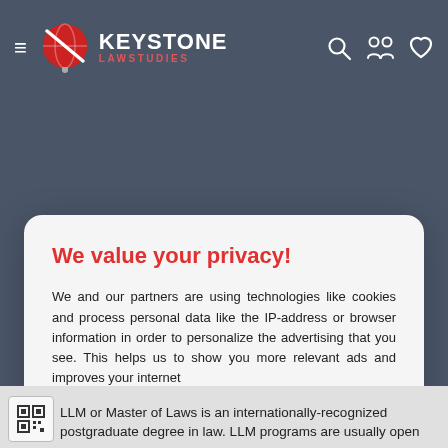KEYSTONE LAWSTUDIES
We value your privacy!
We and our partners are using technologies like cookies and process personal data like the IP-address or browser information in order to personalize the advertising that you see. This helps us to show you more relevant ads and improves your internet
Accept all
Settings
Cookies | Privacy notice | T&C
LLM or Master of Laws is an internationally-recognized postgraduate degree in law. LLM programs are usually open